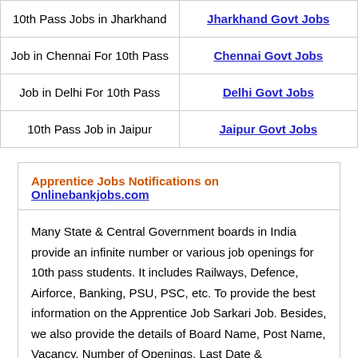| 10th Pass Jobs in Jharkhand | Jharkhand Govt Jobs |
| Job in Chennai For 10th Pass | Chennai Govt Jobs |
| Job in Delhi For 10th Pass | Delhi Govt Jobs |
| 10th Pass Job in Jaipur | Jaipur Govt Jobs |
Apprentice Jobs Notifications on Onlinebankjobs.com
Many State & Central Government boards in India provide an infinite number or various job openings for 10th pass students. It includes Railways, Defence, Airforce, Banking, PSU, PSC, etc. To provide the best information on the Apprentice Job Sarkari Job. Besides, we also provide the details of Board Name, Post Name, Vacancy, Number of Openings, Last Date & Online/Offline application form for every job both male/ female